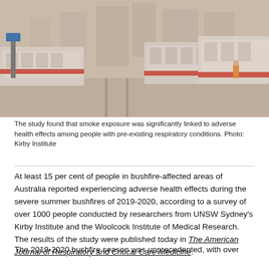[Figure (photo): A hazy, smoke-filled city street scene showing red-and-white trams/light rail vehicles on tracks, with tall buildings barely visible through thick smoke haze in the background. A person in an orange high-visibility vest is visible between the trams.]
The study found that smoke exposure was significantly linked to adverse health effects among people with pre-existing respiratory conditions. Photo: Kirby Institute
At least 15 per cent of people in bushfire-affected areas of Australia reported experiencing adverse health effects during the severe summer bushfires of 2019-2020, according to a survey of over 1000 people conducted by researchers from UNSW Sydney's Kirby Institute and the Woolcock Institute of Medical Research. The results of the study were published today in The American Journal of Respiratory and Critical Care Medicine.
The 2019-2020 bushfire season was unprecedented, with over